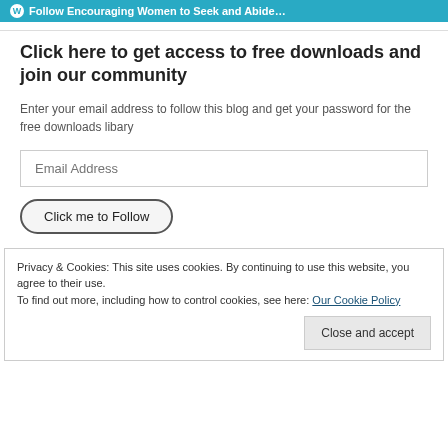Follow Encouraging Women to Seek and Abide…
Click here to get access to free downloads and join our community
Enter your email address to follow this blog and get your password for the free downloads libary
Email Address
Click me to Follow
Privacy & Cookies: This site uses cookies. By continuing to use this website, you agree to their use.
To find out more, including how to control cookies, see here: Our Cookie Policy
Close and accept